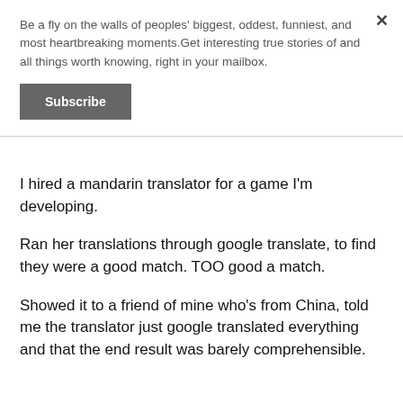Be a fly on the walls of peoples' biggest, oddest, funniest, and most heartbreaking moments.Get interesting true stories of and all things worth knowing, right in your mailbox.
Subscribe
I hired a mandarin translator for a game I'm developing.
Ran her translations through google translate, to find they were a good match. TOO good a match.
Showed it to a friend of mine who's from China, told me the translator just google translated everything and that the end result was barely comprehensible.